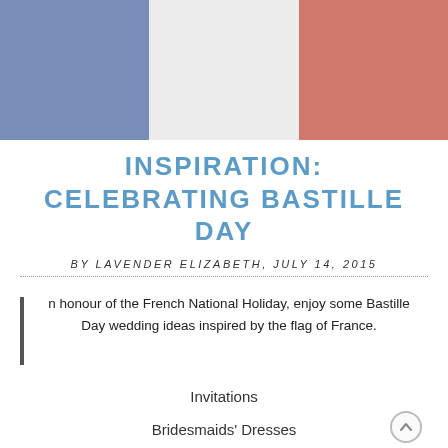[Figure (illustration): French flag tricolor (blue, white, red) banner image with slightly faded/overlaid appearance]
INSPIRATION: CELEBRATING BASTILLE DAY
BY LAVENDER ELIZABETH, JULY 14, 2015
In honour of the French National Holiday, enjoy some Bastille Day wedding ideas inspired by the flag of France.
Invitations
Bridesmaids' Dresses